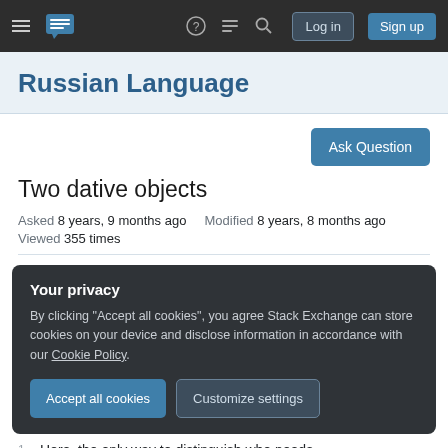Russian Language Stack Exchange – Log in / Sign up
Russian Language
Two dative objects
Asked 8 years, 9 months ago   Modified 8 years, 8 months ago   Viewed 355 times
Your privacy
By clicking "Accept all cookies", you agree Stack Exchange can store cookies on your device and disclose information in accordance with our Cookie Policy.
Accept all cookies   Customize settings
Here, the only way to distinguish who needs